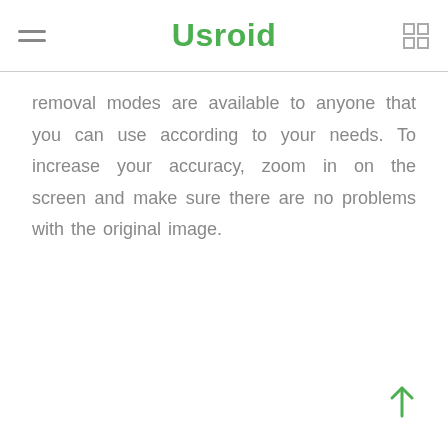Usroid
removal modes are available to anyone that you can use according to your needs. To increase your accuracy, zoom in on the screen and make sure there are no problems with the original image.